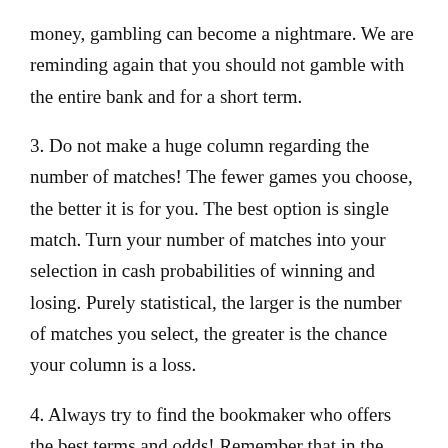money, gambling can become a nightmare. We are reminding again that you should not gamble with the entire bank and for a short term.
3. Do not make a huge column regarding the number of matches! The fewer games you choose, the better it is for you. The best option is single match. Turn your number of matches into your selection in cash probabilities of winning and losing. Purely statistical, the larger is the number of matches you select, the greater is the chance your column is a loss.
4. Always try to find the bookmaker who offers the best terms and odds! Remember that in the long run even the difference of one-tenth of the ratio will be important.